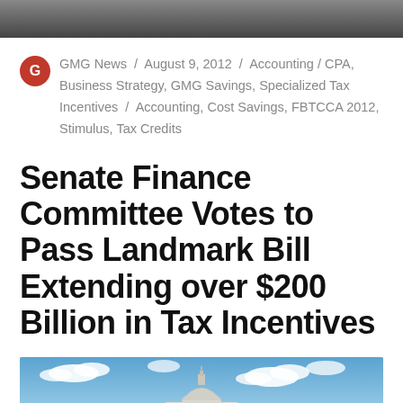[Figure (photo): Top image banner, partial photo visible at top of page]
GMG News / August 9, 2012 / Accounting / CPA, Business Strategy, GMG Savings, Specialized Tax Incentives / Accounting, Cost Savings, FBTCCA 2012, Stimulus, Tax Credits
Senate Finance Committee Votes to Pass Landmark Bill Extending over $200 Billion in Tax Incentives
[Figure (photo): Photo of the United States Capitol building dome against a blue sky with clouds]